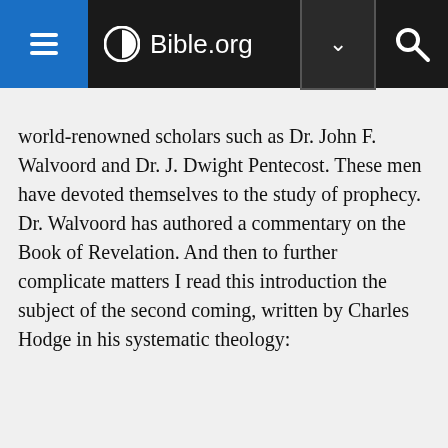Bible.org
world-renowned scholars such as Dr. John F. Walvoord and Dr. J. Dwight Pentecost. These men have devoted themselves to the study of prophecy. Dr. Walvoord has authored a commentary on the Book of Revelation. And then to further complicate matters I read this introduction the subject of the second coming, written by Charles Hodge in his systematic theology: